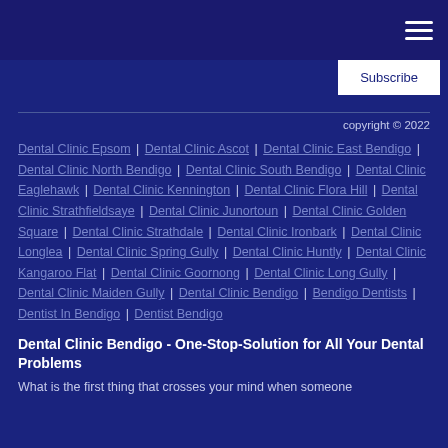Subscribe
copyright © 2022
Dental Clinic Epsom | Dental Clinic Ascot | Dental Clinic East Bendigo | Dental Clinic North Bendigo | Dental Clinic South Bendigo | Dental Clinic Eaglehawk | Dental Clinic Kennington | Dental Clinic Flora Hill | Dental Clinic Strathfieldsaye | Dental Clinic Junortoun | Dental Clinic Golden Square | Dental Clinic Strathdale | Dental Clinic Ironbark | Dental Clinic Longlea | Dental Clinic Spring Gully | Dental Clinic Huntly | Dental Clinic Kangaroo Flat | Dental Clinic Goornong | Dental Clinic Long Gully | Dental Clinic Maiden Gully | Dental Clinic Bendigo | Bendigo Dentists | Dentist In Bendigo | Dentist Bendigo
Dental Clinic Bendigo - One-Stop-Solution for All Your Dental Problems
What is the first thing that crosses your mind when someone